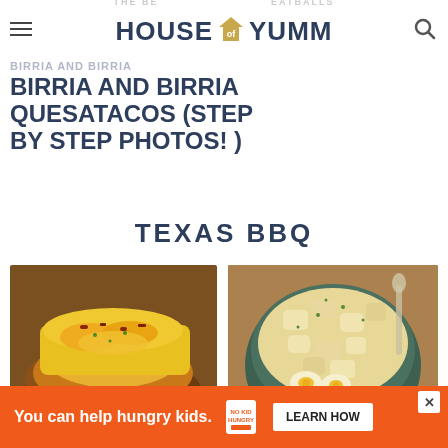HOUSE OF YUMM
BIRRIA AND BIRRIA QUESATACOS (STEP BY STEP PHOTOS! )
TEXAS BBQ
[Figure (photo): Two stuffed baked potatoes topped with melted cheddar cheese and bacon bits on a white plate]
[Figure (photo): A green bowl filled with creamy potato salad garnished with chives and hard-boiled egg slices on a wire rack]
You can help hungry kids. NO KID HUNGRY LEARN HOW